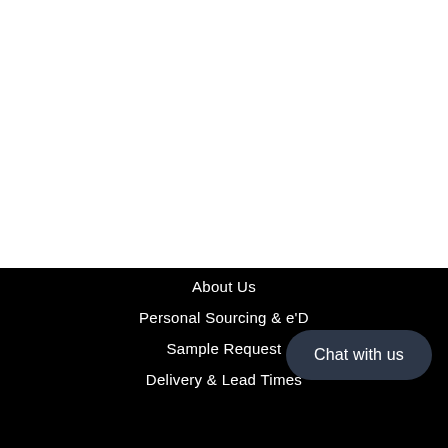About Us
Personal Sourcing & e'D
Sample Request
Delivery & Lead Times
Chat with us